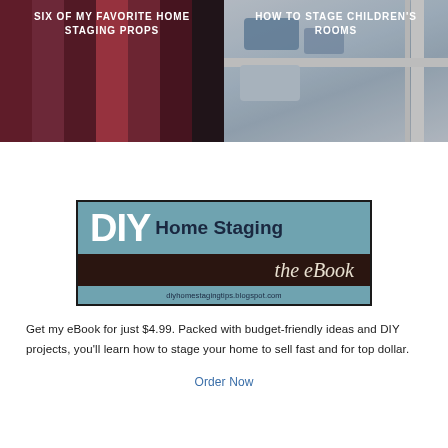[Figure (photo): Two side-by-side photos: left shows stacked red/maroon books with a glass bowl prop; right shows a children's bunk bed with blue/white bedding and pillows]
[Figure (logo): DIY Home Staging the eBook banner with teal/brown design and URL diyhomestagingtips.blogspot.com]
Get my eBook for just $4.99. Packed with budget-friendly ideas and DIY projects, you'll learn how to stage your home to sell fast and for top dollar.
Order Now